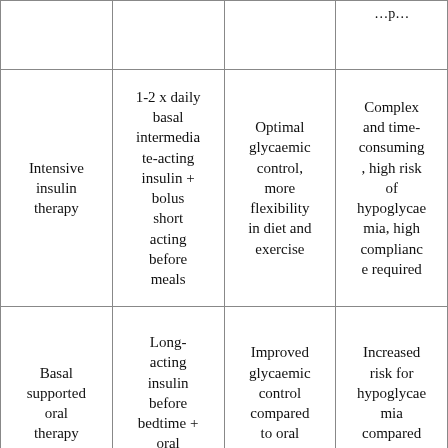|  |  |  | …p… |
| Intensive insulin therapy | 1-2 x daily basal intermediate-acting insulin + bolus short acting before meals | Optimal glycaemic control, more flexibility in diet and exercise | Complex and time-consuming, high risk of hypoglycaemia, high compliance required |
| Basal supported oral therapy | Long-acting insulin before bedtime + oral antidiabeti… | Improved glycaemic control compared to oral antidiabeti… | Increased risk for hypoglycaemia compared to oral… |